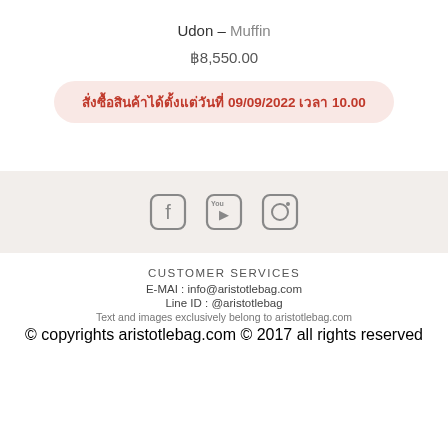Udon – Muffin
฿8,550.00
สั่งซื้อสินค้าได้ตั้งแต่วันที่ 09/09/2022 เวลา 10.00
[Figure (other): Social media icons: Facebook, YouTube, Instagram]
CUSTOMER SERVICES
E-MAI : info@aristotlebag.com
Line ID : @aristotlebag
Text and images exclusively belong to aristotlebag.com
© copyrights aristotlebag.com © 2017 all rights reserved